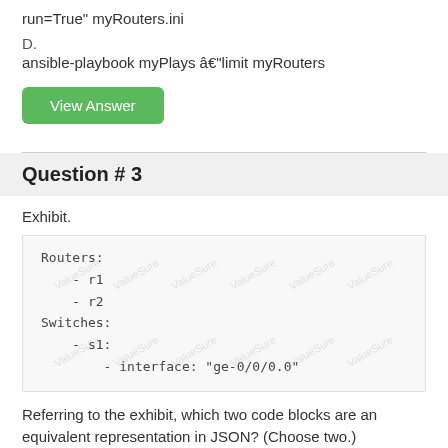run=True" myRouters.ini
D.
ansible-playbook myPlays â€"limit myRouters
Question # 3
Exhibit.
[Figure (screenshot): Code exhibit showing YAML inventory with Routers (r1, r2) and Switches (s1 with interface ge-0/0/0.0) with watermark overlay]
Referring to the exhibit, which two code blocks are an equivalent representation in JSON? (Choose two.)